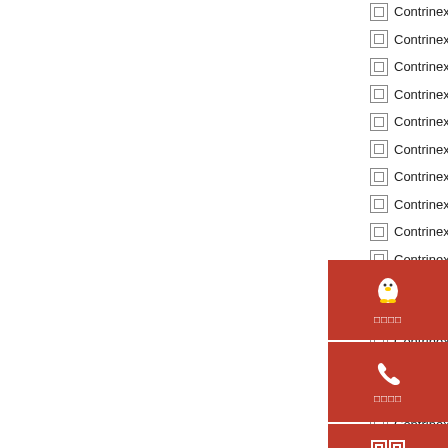□□ Contrinex YCA-50R4-63...
□□ Contrinex YCA-50R4-63...
□□ Contrinex YCA-50R4-63...
□□ Contrinex YCA-50S4-34...
□□ Contrinex YCA-50S4-34...
□□ Contrinex YCA-50S4-34...
□□ Contrinex YCA-...
□□ Contrinex YCA-...
□□ Contrinex YCA-...
□□ Contrinex YCA-...
□□ Contrinex YCA-50S4-...
□□ Contrinex YCA-...
□□ Contrinex YCA-...
□□ Contrinex YCA-...
□□ Contrinex YCA-...
□□ Contrinex YCA-50S4-35...
□□ Contrinex YCA-50S4-35...
□□ Contrinex YCA-50S4-35...
□□ Contrinex YCA-50R4-35...